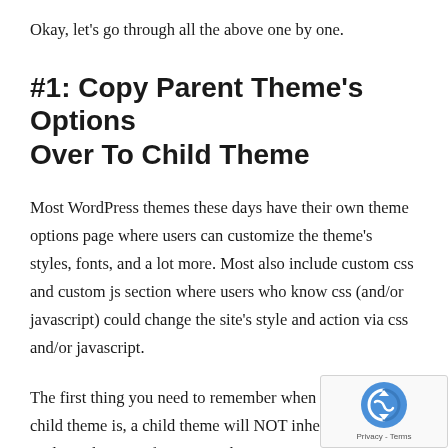Okay, let’s go through all the above one by one.
#1: Copy Parent Theme’s Options Over To Child Theme
Most WordPress themes these days have their own theme options page where users can customize the theme’s styles, fonts, and a lot more. Most also include custom css and custom js section where users who know css (and/or javascript) could change the site’s style and action via css and/or javascript.
The first thing you need to remember when creating a child theme is, a child theme will NOT inherit the options, aside from changes of its parent theme’s...